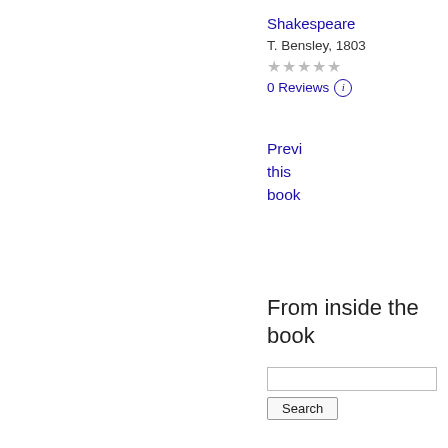Shakespeare
T. Bensley, 1803
★★★★★ (0 Reviews)
Preview this book
From inside the book
Search
What people are saying - Write a review